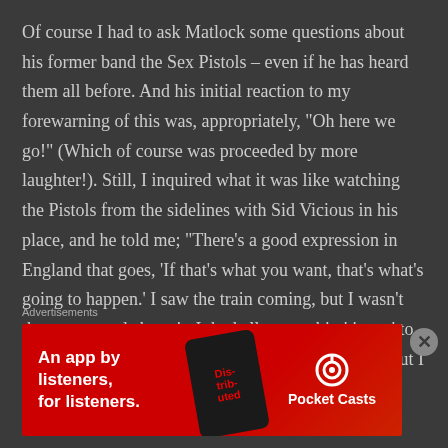Of course I had to ask Matlock some questions about his former band the Sex Pistols – even if he has heard them all before. And his initial reaction to my forewarning of this was, appropriately, “Oh here we go!” (Which of course was proceeded by more laughter!). Still, I inquired what it was like watching the Pistols from the sidelines with Sid Vicious in his place, and he told me; “There’s a good expression in England that goes, ‘If that’s what you want, that’s what’s going to happen.’ I saw the train coming, but I wasn’t that concerned about it. It had all gone a bit, ‘tits up’ to me anyway, and I didn’t like the way it was going. But I
Advertisements
[Figure (screenshot): Red advertisement banner for Pocket Casts: 'An app by listeners, for listeners.' with a phone showing 'Distributed' podcast app and Pocket Casts logo on the right.]